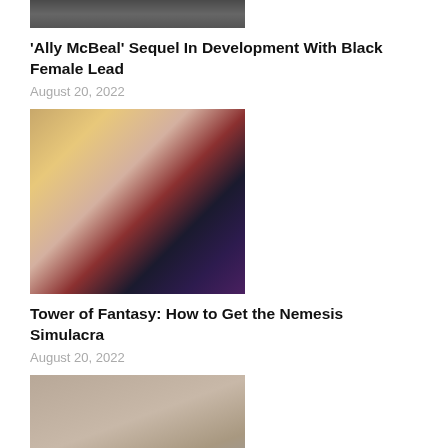[Figure (photo): Partial cropped photo at top of page, appears to show people]
'Ally McBeal' Sequel In Development With Black Female Lead
August 20, 2022
[Figure (illustration): Anime-style artwork showing a female character with long silver/blonde hair wearing a red and black outfit]
Tower of Fantasy: How to Get the Nemesis Simulacra
August 20, 2022
[Figure (photo): Photo of three young people standing in an art museum or gallery with paintings on walls behind them]
'Ferris Bueller's Day Off' Spin-Off In The Works From